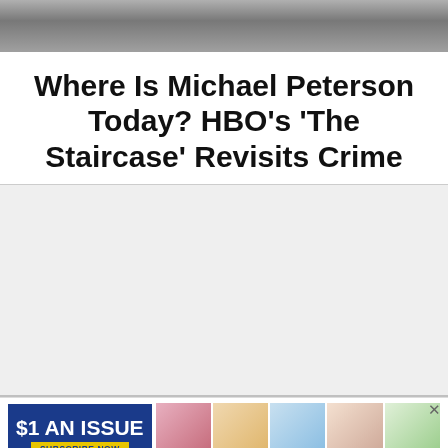[Figure (photo): Cropped photo strip showing people, partially visible at top of page]
Where Is Michael Peterson Today? HBO's 'The Staircase' Revisits Crime
[Figure (photo): Advertisement banner: $1 AN ISSUE, SUBSCRIBE NOW, US Weekly magazine covers]
$1 AN ISSUE SUBSCRIBE NOW